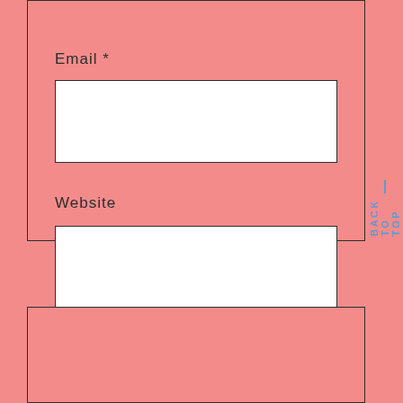Email *
[Figure (other): Empty white input field for Email]
Website
[Figure (other): Empty white input field for Website]
Post Comment
BACK TO TOP
[Figure (other): Partially visible empty section at bottom of page]